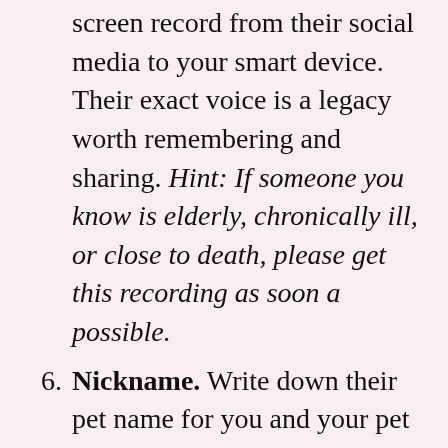screen record from their social media to your smart device. Their exact voice is a legacy worth remembering and sharing. Hint: If someone you know is elderly, chronically ill, or close to death, please get this recording as soon a possible.
6. Nickname. Write down their pet name for you and your pet name for them. (This is not the time to dwell on the negative nicknames you might have accepted.) Think back to the ones that were personal and loving and just